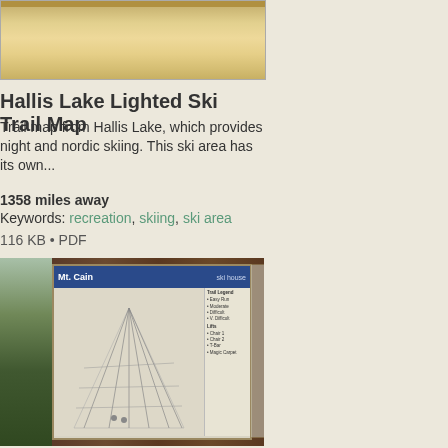[Figure (photo): Thumbnail image of a parchment-style ski trail map for Hallis Lake]
Hallis Lake Lighted Ski Trail Map
Trail map from Hallis Lake, which provides night and nordic skiing. This ski area has its own...
1358 miles away
Keywords: recreation, skiing, ski area
116 KB • PDF
[Figure (photo): Photograph of Mt. Cain trail map display board mounted on wooden wall, showing ski trail map with Mt. Cain header]
Mt. Cain 2005–07 Mt Cain Map
Trail map from Mt. Cain